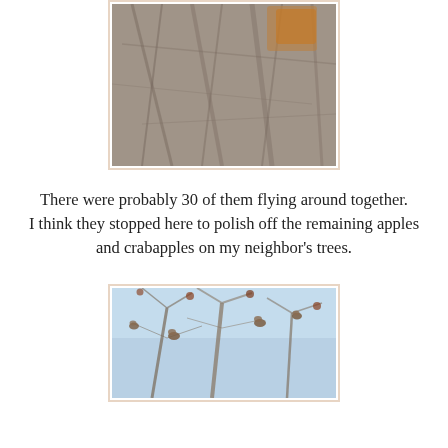[Figure (photo): Close-up photograph of bare winter tree branches with snow or ice, showing tangled twigs. An orange object (possibly a bird or fruit) is visible in the upper right corner.]
There were probably 30 of them flying around together. I think they stopped here to polish off the remaining apples and crabapples on my neighbor's trees.
[Figure (photo): Photograph of bare winter tree branches against a blue sky, with several small birds perched on the branches and small round crabapples visible.]